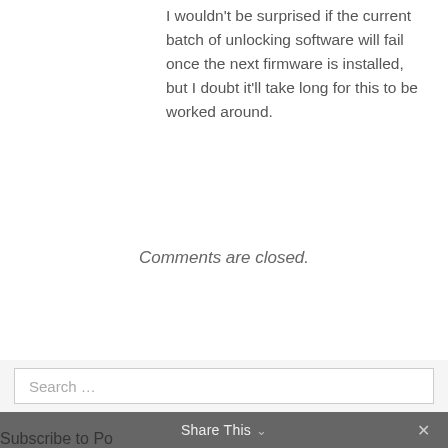I wouldn't be surprised if the current batch of unlocking software will fail once the next firmware is installed, but I doubt it'll take long for this to be worked around.
Comments are closed.
Search ...
Share This ∨  ✕
Subscribe to Podcast...